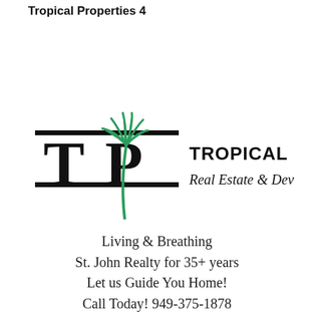Tropical Properties 4
[Figure (logo): Tropical Properties Real Estate & Development logo: large serif T|P letters with black horizontal bars above and below, and a green palm tree growing between the letters. To the right: 'TROPICAL PROPERTIES' in bold sans-serif caps and 'Real Estate & Development' in italic serif below.]
Living & Breathing
St. John Realty for 35+ years
Let us Guide You Home!
Call Today! 949-375-1878